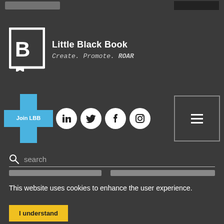[Figure (logo): Little Black Book logo with B in a square bracket frame]
Little Black Book
Create. Promote. ROAR
[Figure (infographic): Blue plus/cross shape with 'Join LBB' button, social media icons (LinkedIn, Twitter, Facebook, Instagram), and a hamburger menu box]
search
This website uses cookies to enhance the user experience.
I understand